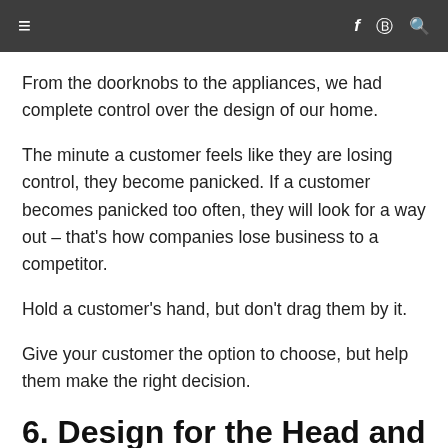≡  f ℗ 🔍
From the doorknobs to the appliances, we had complete control over the design of our home.
The minute a customer feels like they are losing control, they become panicked. If a customer becomes panicked too often, they will look for a way out – that's how companies lose business to a competitor.
Hold a customer's hand, but don't drag them by it.
Give your customer the option to choose, but help them make the right decision.
6. Design for the Head and the